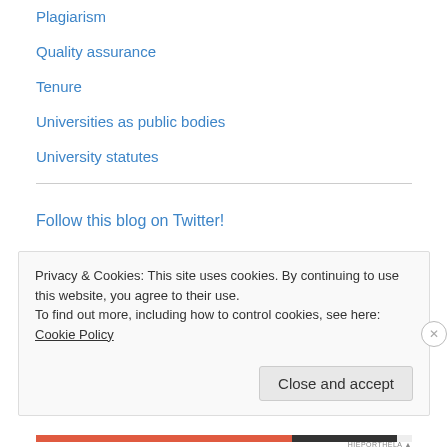Plagiarism
Quality assurance
Tenure
Universities as public bodies
University statutes
Follow this blog on Twitter!
Privacy & Cookies: This site uses cookies. By continuing to use this website, you agree to their use.
To find out more, including how to control cookies, see here: Cookie Policy
Close and accept